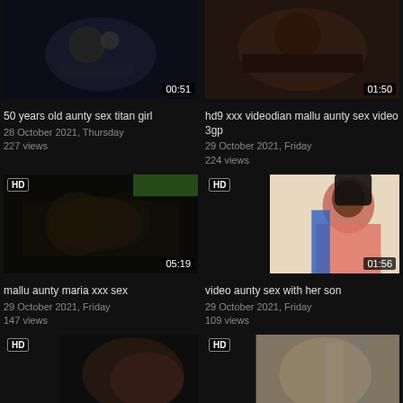[Figure (screenshot): Video thumbnail - dark scene, duration 00:51]
50 years old aunty sex titan girl
28 October 2021, Thursday
227 views
[Figure (screenshot): Video thumbnail - person lying, duration 01:50]
hd9 xxx videodian mallu aunty sex video 3gp
29 October 2021, Friday
224 views
[Figure (screenshot): HD video thumbnail - kissing scene, duration 05:19]
mallu aunty maria xxx sex
29 October 2021, Friday
147 views
[Figure (screenshot): HD video thumbnail - woman in saree, duration 01:56]
video aunty sex with her son
29 October 2021, Friday
109 views
[Figure (screenshot): HD video thumbnail - partial view]
[Figure (screenshot): HD video thumbnail - partial view]